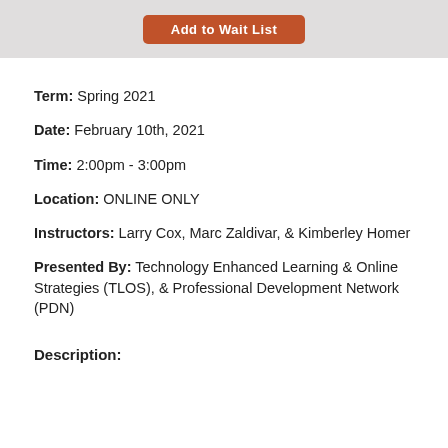[Figure (other): Orange 'Add to Wait List' button on a light grey background bar]
Term: Spring 2021
Date: February 10th, 2021
Time: 2:00pm - 3:00pm
Location: ONLINE ONLY
Instructors: Larry Cox, Marc Zaldivar, & Kimberley Homer
Presented By: Technology Enhanced Learning & Online Strategies (TLOS), & Professional Development Network (PDN)
Description: